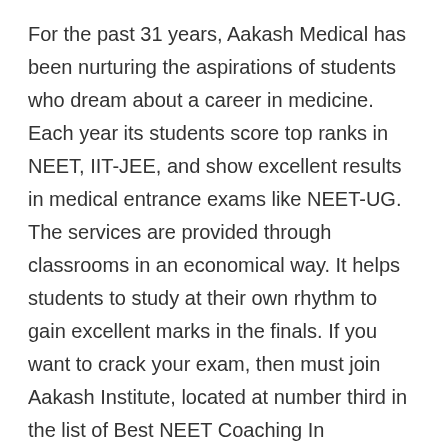For the past 31 years, Aakash Medical has been nurturing the aspirations of students who dream about a career in medicine. Each year its students score top ranks in NEET, IIT-JEE, and show excellent results in medical entrance exams like NEET-UG. The services are provided through classrooms in an economical way. It helps students to study at their own rhythm to gain excellent marks in the finals. If you want to crack your exam, then must join Aakash Institute, located at number third in the list of Best NEET Coaching In Vadodara.
Features Of Aakash Institute- Best